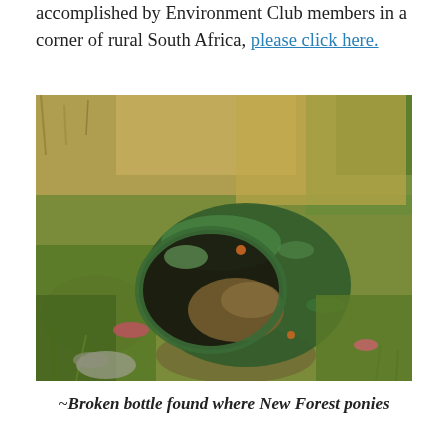accomplished by Environment Club members in a corner of rural South Africa, please click here.
[Figure (photo): Photograph of a broken green glass bottle lying on its side among grass and small plants, with dirt and debris visible inside the bottle opening. The background shows dry and green grass in a natural outdoor setting.]
~Broken bottle found where New Forest ponies